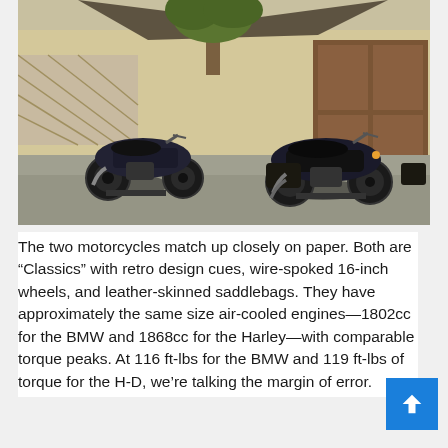[Figure (photo): Two dark-colored motorcycles parked outdoors on a paved surface in front of a building with a wooden door, trellis shade structure, and a tree. Left bike is a BMW cruiser, right bike is a Harley-Davidson with saddlebags.]
The two motorcycles match up closely on paper. Both are “Classics” with retro design cues, wire-spoked 16-inch wheels, and leather-skinned saddlebags. They have approximately the same size air-cooled engines—1802cc for the BMW and 1868cc for the Harley—with comparable torque peaks. At 116 ft-lbs for the BMW and 119 ft-lbs of torque for the H-D, we’re talking the margin of error.